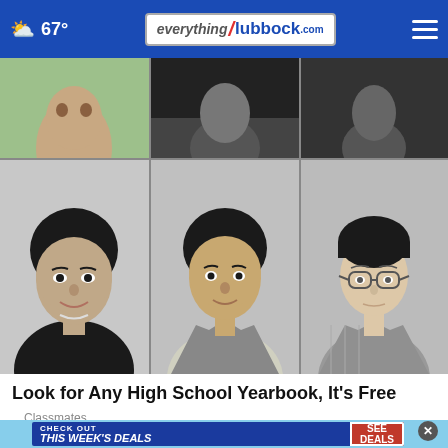67° — everything Lubbock .com
[Figure (photo): Grid of black-and-white high school yearbook portrait photos, 3 columns, 2 rows. Top row shows partial/cropped faces. Bottom row shows three portraits: a smiling young woman, a young man in a suit and tie, and a young man with glasses in a checkered jacket.]
Look for Any High School Yearbook, It's Free
Classmates
[Figure (infographic): Advertisement banner: blue background with 'CHECK OUT THIS WEEK'S DEALS' text and a red 'SEE DEALS' button. A close (X) button in dark circle is visible.]